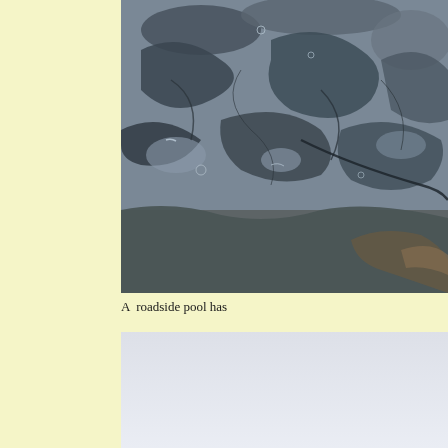[Figure (photo): Close-up photograph of a roadside pool showing wet mud or clay surface with irregular water-filled cracks and pools, creating abstract patterns of dark grey mud and shallow water puddles.]
A  roadside pool has
[Figure (photo): Bottom portion of a second photograph showing a light grey/white background, possibly sky or a light-colored surface.]